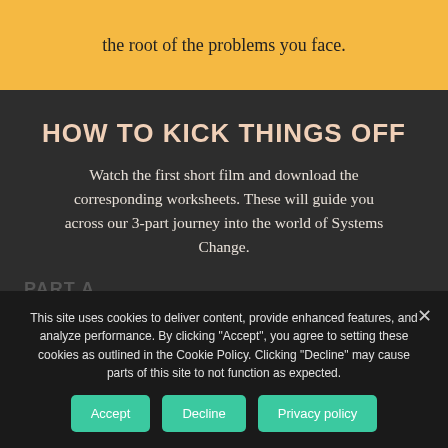the root of the problems you face.
HOW TO KICK THINGS OFF
Watch the first short film and download the corresponding worksheets. These will guide you across our 3-part journey into the world of Systems Change.
GET STARTED!
This site uses cookies to deliver content, provide enhanced features, and analyze performance. By clicking "Accept", you agree to setting these cookies as outlined in the Cookie Policy. Clicking "Decline" may cause parts of this site to not function as expected.
Accept  Decline  Privacy policy